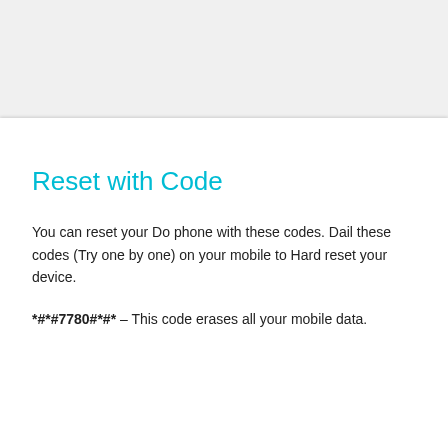Reset with Code
You can reset your Do phone with these codes. Dail these codes (Try one by one) on your mobile to Hard reset your device.
*#*#7780#*#* – This code erases all your mobile data.